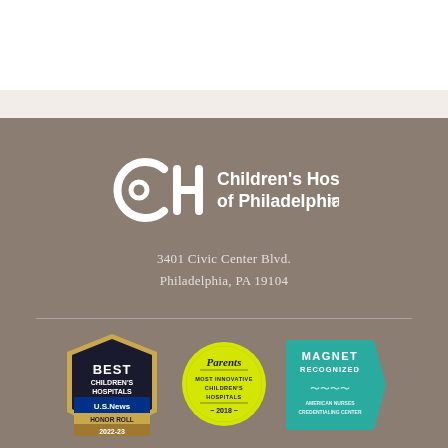[Figure (logo): Children's Hospital of Philadelphia logo with CH monogram and text]
3401 Civic Center Blvd.
Philadelphia, PA 19104
[Figure (infographic): Three award badges: US News Best Children's Hospitals Honor Roll 2022-23; Parents Most Innovative Children's Hospitals 2018; Magnet Recognized American Nurses Credentialing Center]